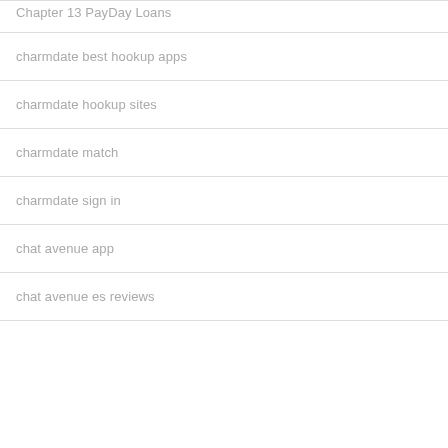Chapter 13 PayDay Loans
charmdate best hookup apps
charmdate hookup sites
charmdate match
charmdate sign in
chat avenue app
chat avenue es reviews